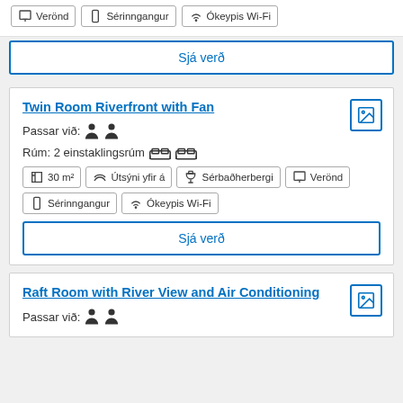Verönd
Sérinngangur
Ókeypis Wi-Fi
Sjá verð
Twin Room Riverfront with Fan
Passar við: (2 persons)
Rúm: 2 einstaklingsrúm
30 m²
Útsýni yfir á
Sérbaðherbergi
Verönd
Sérinngangur
Ókeypis Wi-Fi
Sjá verð
Raft Room with River View and Air Conditioning
Passar við: (2 persons)